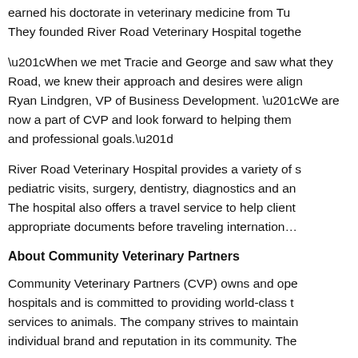earned his doctorate in veterinary medicine from Tu. They founded River Road Veterinary Hospital togethe
“When we met Tracie and George and saw what they Road, we knew their approach and desires were align Ryan Lindgren, VP of Business Development. “We are now a part of CVP and look forward to helping them and professional goals.”
River Road Veterinary Hospital provides a variety of s pediatric visits, surgery, dentistry, diagnostics and an The hospital also offers a travel service to help client appropriate documents before traveling internation…
About Community Veterinary Partners
Community Veterinary Partners (CVP) owns and ope hospitals and is committed to providing world-class t services to animals. The company strives to maintain individual brand and reputation in its community. The